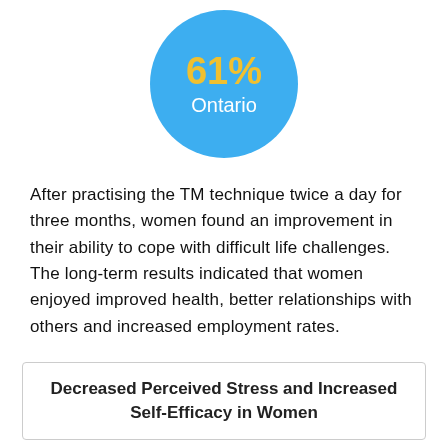[Figure (infographic): Blue circle with '61%' in yellow bold text and 'Ontario' in white text below]
After practising the TM technique twice a day for three months, women found an improvement in their ability to cope with difficult life challenges. The long-term results indicated that women enjoyed improved health, better relationships with others and increased employment rates.
Decreased Perceived Stress and Increased Self-Efficacy in Women